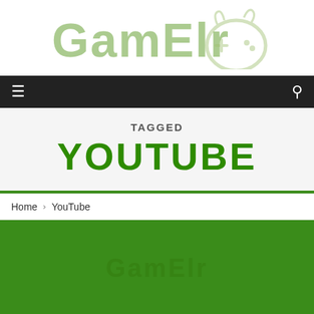[Figure (logo): GamElr logo with gaming controller icon, light green watermark style text]
Navigation bar with hamburger menu icon and search icon
TAGGED
YOUTUBE
Home > YouTube
[Figure (photo): Green background image with faint GamElr logo text visible]